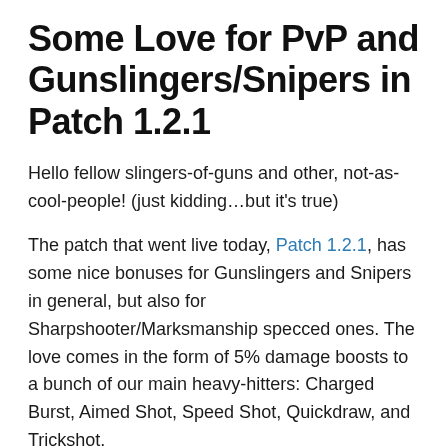Some Love for PvP and Gunslingers/Snipers in Patch 1.2.1
Hello fellow slingers-of-guns and other, not-as-cool-people! (just kidding…but it's true)
The patch that went live today, Patch 1.2.1, has some nice bonuses for Gunslingers and Snipers in general, but also for Sharpshooter/Marksmanship specced ones. The love comes in the form of 5% damage boosts to a bunch of our main heavy-hitters: Charged Burst, Aimed Shot, Speed Shot, Quickdraw, and Trickshot.
While I don't personally love Sharpshooter for PvP purposes, as the primarily energy damage-based spec is mitigated a lot by armor at endgame PvP, the other boosts